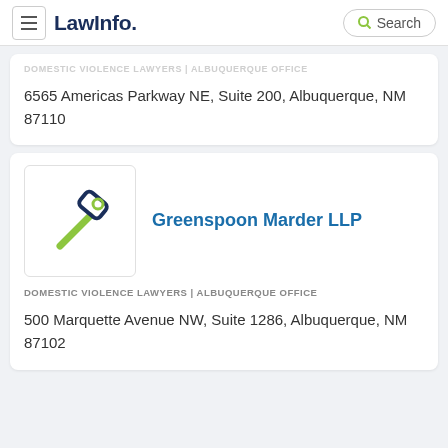LawInfo. Search
DOMESTIC VIOLENCE LAWYERS | ALBUQUERQUE OFFICE
6565 Americas Parkway NE, Suite 200, Albuquerque, NM 87110
[Figure (logo): LawInfo gavel icon logo for Greenspoon Marder LLP]
Greenspoon Marder LLP
DOMESTIC VIOLENCE LAWYERS  |  ALBUQUERQUE OFFICE
500 Marquette Avenue NW, Suite 1286, Albuquerque, NM 87102